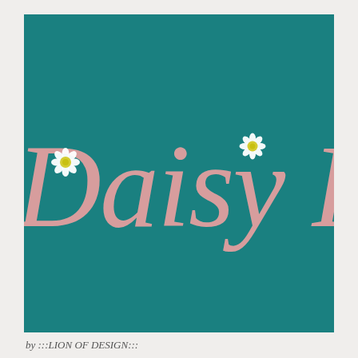[Figure (logo): Daisy Pettles brand logo on teal background with pink cursive script text and small daisy flower illustrations]
by :::LION OF DESIGN:::